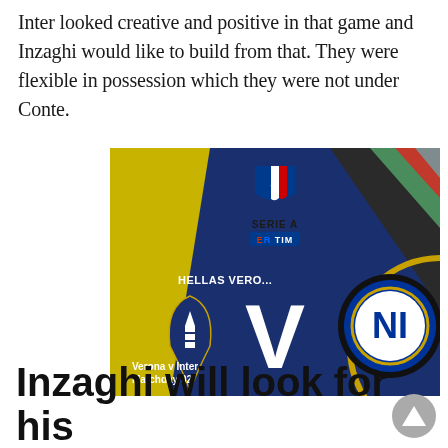Inter looked creative and positive in that game and Inzaghi would like to build from that. They were flexible in possession which they were not under Conte.
[Figure (photo): Serie A TIM matchday graphic showing Hellas Verona v Inter, Matchday 02. Yellow and blue background with Hellas Verona badge on the left, Inter Milan badge (blue circle with NI logo) on the right, a large white 'V' in the center, and the Serie A TIM logo at the top.]
Inzaghi will look for his